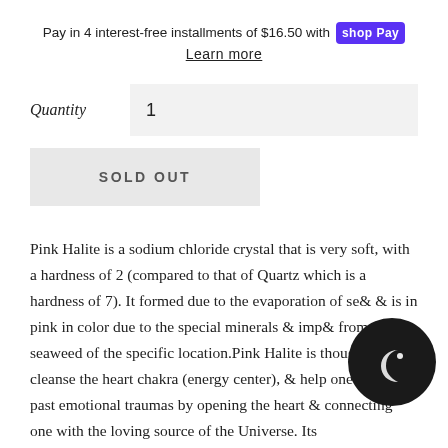Pay in 4 interest-free installments of $16.50 with shop Pay
Learn more
Quantity  1
SOLD OUT
Pink Halite is a sodium chloride crystal that is very soft, with a hardness of 2 (compared to that of Quartz which is a hardness of 7). It formed due to the evaporation of se... & is in pink in color due to the special minerals & imp... from seaweed of the specific location.Pink Halite is thought to cleanse the heart chakra (energy center), & help one overcome past emotional traumas by opening the heart & connecting one with the loving source of the Universe. Its